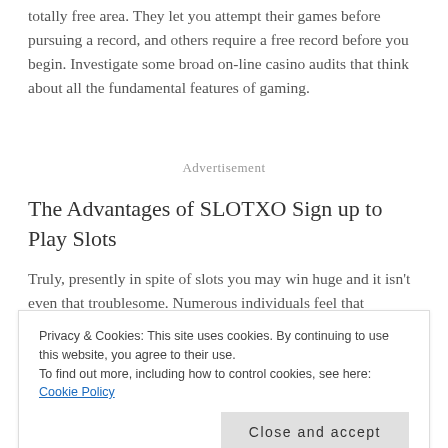totally free area. They let you attempt their games before pursuing a record, and others require a free record before you begin. Investigate some broad on-line casino audits that think about all the fundamental features of gaming.
Advertisement
The Advantages of SLOTXO Sign up to Play Slots
Truly, presently in spite of slots you may win huge and it isn't even that troublesome. Numerous individuals feel that
Privacy & Cookies: This site uses cookies. By continuing to use this website, you agree to their use.
To find out more, including how to control cookies, see here: Cookie Policy
for nothing out of pocket and the one which you're taking a